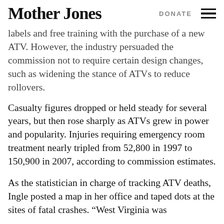Mother Jones | DONATE
labels and free training with the purchase of a new ATV. However, the industry persuaded the commission not to require certain design changes, such as widening the stance of ATVs to reduce rollovers.
Casualty figures dropped or held steady for several years, but then rose sharply as ATVs grew in power and popularity. Injuries requiring emergency room treatment nearly tripled from 52,800 in 1997 to 150,900 in 2007, according to commission estimates.
As the statistician in charge of tracking ATV deaths, Ingle posted a map in her office and taped dots at the sites of fatal crashes. “West Virginia was